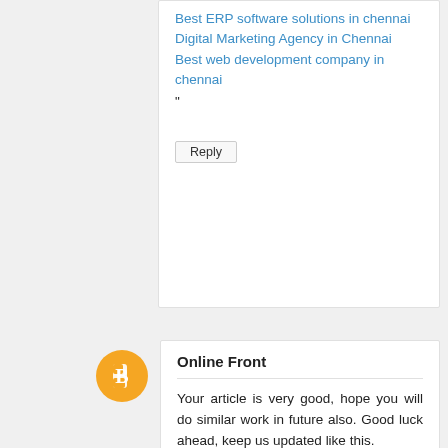Best ERP software solutions in chennai
Digital Marketing Agency in Chennai
Best web development company in chennai
"
Reply
Online Front
Your article is very good, hope you will do similar work in future also. Good luck ahead, keep us updated like this.
Digital Marketing Services in delhi
website development packages
Reply
Shoppa.in
Good job, It is one of the best information I came to know today. Hope you are doing well, and good